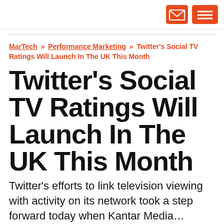[email icon] [menu icon]
MarTech » Performance Marketing » Twitter's Social TV Ratings Will Launch In The UK This Month
Twitter's Social TV Ratings Will Launch In The UK This Month
Twitter's efforts to link television viewing with activity on its network took a step forward today when Kantar Media…